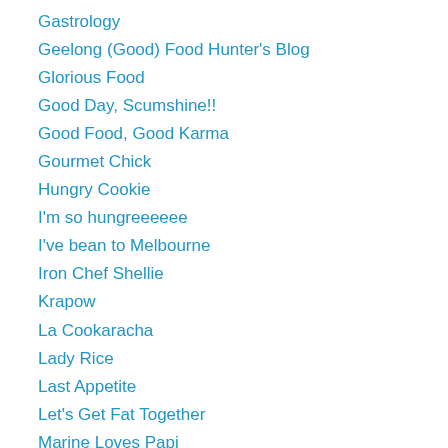Gastrology
Geelong (Good) Food Hunter's Blog
Glorious Food
Good Day, Scumshine!!
Good Food, Good Karma
Gourmet Chick
Hungry Cookie
I'm so hungreeeeee
I've bean to Melbourne
Iron Chef Shellie
Krapow
La Cookaracha
Lady Rice
Last Appetite
Let's Get Fat Together
Marine Loves Papi
Melbourne Cheapskate
Mon's Adventures
Munching In Melbourne
My Seasonal Table